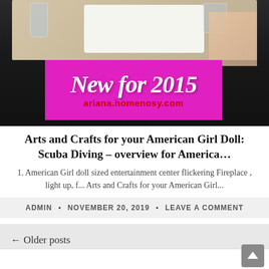[Figure (photo): Dark background photo with table surface, glasses, white frame, and fabric visible. A pink/magenta banner overlay reads 'New for 2015' with 'ariana.homenosy.com' in red below.]
Arts and Crafts for your American Girl Doll: Scuba Diving – overview for America…
1. American Girl doll sized entertainment center flickering Fireplace , light up, f... Arts and Crafts for your American Girl...
ADMIN  •  NOVEMBER 20, 2019  •  LEAVE A COMMENT
← Older posts